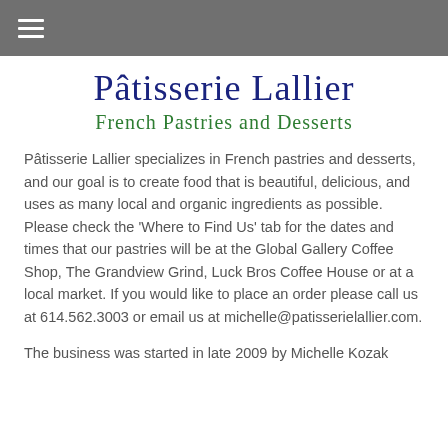≡
Pâtisserie Lallier
French Pastries and Desserts
Pâtisserie Lallier specializes in French pastries and desserts, and our goal is to create food that is beautiful, delicious, and uses as many local and organic ingredients as possible. Please check the 'Where to Find Us' tab for the dates and times that our pastries will be at the Global Gallery Coffee Shop, The Grandview Grind, Luck Bros Coffee House or at a local market. If you would like to place an order please call us at 614.562.3003 or email us at michelle@patisserielallier.com.
The business was started in late 2009 by Michelle Kozak